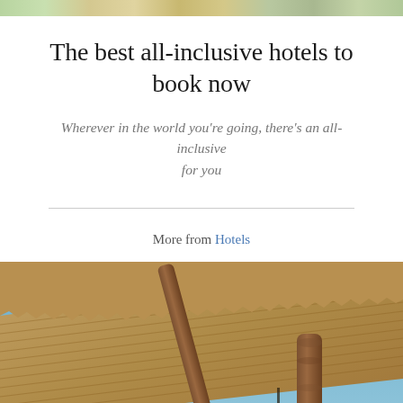[Figure (photo): Top strip showing a partial photo of outdoor scenery with green and golden tones]
The best all-inclusive hotels to book now
Wherever in the world you’re going, there’s an all-inclusive for you
More from Hotels
[Figure (photo): Close-up photo of a thatched roof structure with wooden log pillars against a clear blue sky, with desert landscape visible in the background]